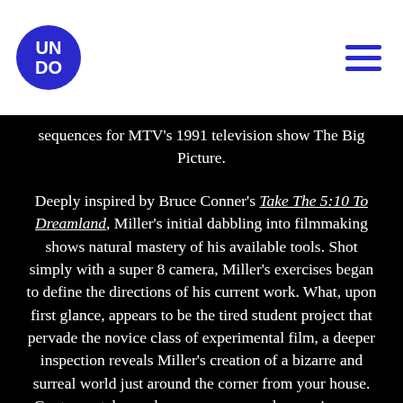UNDO (logo)
sequences for MTV's 1991 television show The Big Picture.
Deeply inspired by Bruce Conner's Take The 5:10 To Dreamland, Miller's initial dabbling into filmmaking shows natural mastery of his available tools. Shot simply with a super 8 camera, Miller's exercises began to define the directions of his current work. What, upon first glance, appears to be the tired student project that pervade the novice class of experimental film, a deeper inspection reveals Miller's creation of a bizarre and surreal world just around the corner from your house. Contrapuntal sound reverses commonly seen images, and simple experimental devices distract the viewer into provocative thought. San Francisco's skyline watched out a window